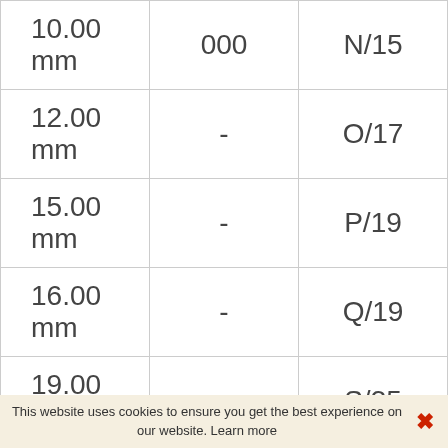| 10.00 mm | 000 | N/15 |
| 12.00 mm | - | O/17 |
| 15.00 mm | - | P/19 |
| 16.00 mm | - | Q/19 |
| 19.00 mm | - | S/35 |
| 25.00 mm | - | 50 |
This website uses cookies to ensure you get the best experience on our website. Learn more